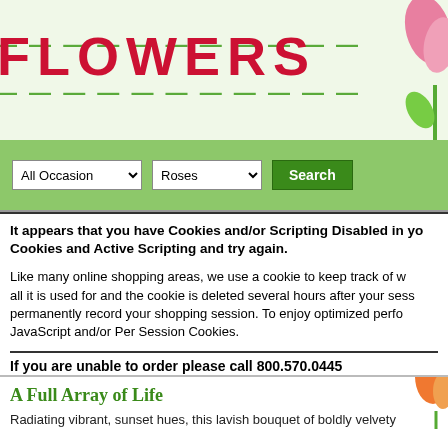[Figure (screenshot): Flower shop website header banner with green background, large red/pink 'FLOWERS' text, green dash decorations, and pink tulip on right side]
[Figure (screenshot): Green search bar with 'All Occasion' dropdown, 'Roses' dropdown, and green 'Search' button]
It appears that you have Cookies and/or Scripting Disabled in your browser. Please enable Cookies and Active Scripting and try again.
Like many online shopping areas, we use a cookie to keep track of what is in your shopping cart, that is all it is used for and the cookie is deleted several hours after your session has ended. We do not permanently record your shopping session. To enjoy optimized performance of this site, please enable JavaScript and/or Per Session Cookies.
If you are unable to order please call 800.570.0445
A Full Array of Life
Radiating vibrant, sunset hues, this lavish bouquet of boldly velvety